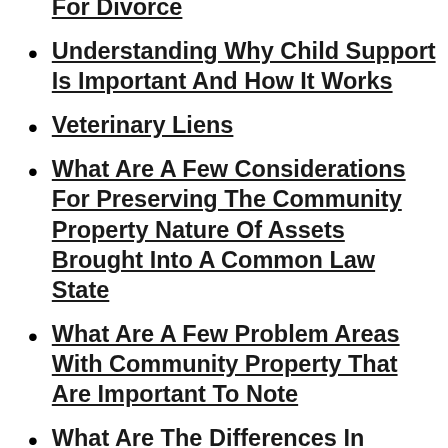Asked In The Initial Consultation For Divorce
Understanding Why Child Support Is Important And How It Works
Veterinary Liens
What Are A Few Considerations For Preserving The Community Property Nature Of Assets Brought Into A Common Law State
What Are A Few Problem Areas With Community Property That Are Important To Note
What Are The Differences In Community Property Between Minnesota And Wisconsin
What Is Community Property